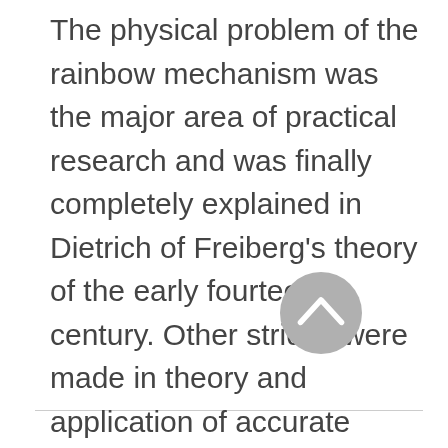The physical problem of the rainbow mechanism was the major area of practical research and was finally completely explained in Dietrich of Freiberg's theory of the early fourteenth century. Other strides were made in theory and application of accurate lenses and mirrors, as well.
[Figure (other): A circular back/up navigation button with a grey background and a white upward-pointing chevron (caret) icon in the center.]